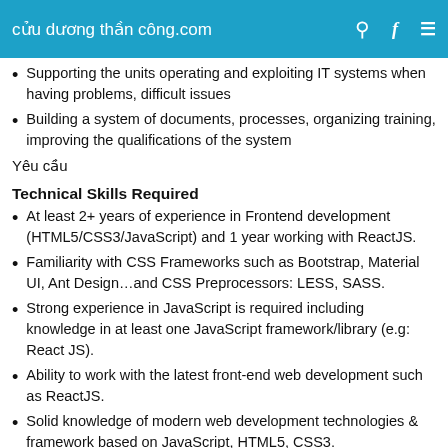cửu dương thần công.com
Supporting the units operating and exploiting IT systems when having problems, difficult issues
Building a system of documents, processes, organizing training, improving the qualifications of the system
Yêu cầu
Technical Skills Required
At least 2+ years of experience in Frontend development (HTML5/CSS3/JavaScript) and 1 year working with ReactJS.
Familiarity with CSS Frameworks such as Bootstrap, Material UI, Ant Design…and CSS Preprocessors: LESS, SASS.
Strong experience in JavaScript is required including knowledge in at least one JavaScript framework/library (e.g: React JS).
Ability to work with the latest front-end web development such as ReactJS.
Solid knowledge of modern web development technologies & framework based on JavaScript, HTML5, CSS3.
Have following skills is advantage...